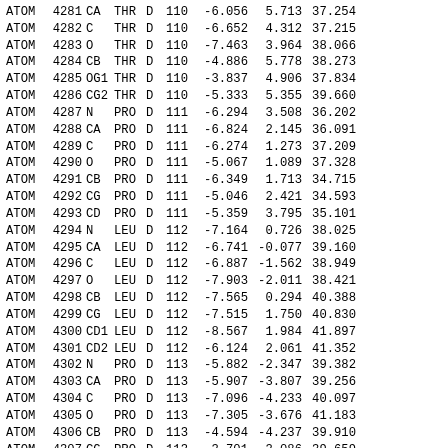| Type | Serial | Name | Res | Chain | ResSeq | X | Y | Z |
| --- | --- | --- | --- | --- | --- | --- | --- | --- |
| ATOM | 4281 | CA | THR | D | 110 | -6.056 | 5.713 | 37.254 |
| ATOM | 4282 | C | THR | D | 110 | -6.652 | 4.312 | 37.215 |
| ATOM | 4283 | O | THR | D | 110 | -7.463 | 3.964 | 38.066 |
| ATOM | 4284 | CB | THR | D | 110 | -4.886 | 5.778 | 38.273 |
| ATOM | 4285 | OG1 | THR | D | 110 | -3.837 | 4.906 | 37.834 |
| ATOM | 4286 | CG2 | THR | D | 110 | -5.333 | 5.355 | 39.660 |
| ATOM | 4287 | N | PRO | D | 111 | -6.294 | 3.508 | 36.202 |
| ATOM | 4288 | CA | PRO | D | 111 | -6.824 | 2.145 | 36.091 |
| ATOM | 4289 | C | PRO | D | 111 | -6.274 | 1.273 | 37.209 |
| ATOM | 4290 | O | PRO | D | 111 | -5.067 | 1.089 | 37.328 |
| ATOM | 4291 | CB | PRO | D | 111 | -6.349 | 1.713 | 34.715 |
| ATOM | 4292 | CG | PRO | D | 111 | -5.046 | 2.421 | 34.593 |
| ATOM | 4293 | CD | PRO | D | 111 | -5.359 | 3.795 | 35.101 |
| ATOM | 4294 | N | LEU | D | 112 | -7.164 | 0.726 | 38.025 |
| ATOM | 4295 | CA | LEU | D | 112 | -6.741 | -0.077 | 39.160 |
| ATOM | 4296 | C | LEU | D | 112 | -6.887 | -1.562 | 38.949 |
| ATOM | 4297 | O | LEU | D | 112 | -7.903 | -2.011 | 38.421 |
| ATOM | 4298 | CB | LEU | D | 112 | -7.565 | 0.294 | 40.388 |
| ATOM | 4299 | CG | LEU | D | 112 | -7.515 | 1.750 | 40.830 |
| ATOM | 4300 | CD1 | LEU | D | 112 | -8.567 | 1.984 | 41.897 |
| ATOM | 4301 | CD2 | LEU | D | 112 | -6.124 | 2.061 | 41.352 |
| ATOM | 4302 | N | PRO | D | 113 | -5.882 | -2.347 | 39.382 |
| ATOM | 4303 | CA | PRO | D | 113 | -5.907 | -3.807 | 39.256 |
| ATOM | 4304 | C | PRO | D | 113 | -7.096 | -4.233 | 40.097 |
| ATOM | 4305 | O | PRO | D | 113 | -7.305 | -3.676 | 41.183 |
| ATOM | 4306 | CB | PRO | D | 113 | -4.594 | -4.237 | 39.910 |
| ATOM | 4307 | CG | PRO | D | 113 | -3.701 | -3.086 | 39.659 |
| ATOM | 4308 | CD | PRO | D | 113 | -4.583 | -1.891 | 39.910 |
| ATOM | 4309 | N | ALA | D | 114 | -7.855 | -5.226 | 39.646 |
| ATOM | 4310 | CA | ALA | D | 114 | -9.029 | -5.627 | 40.397 |